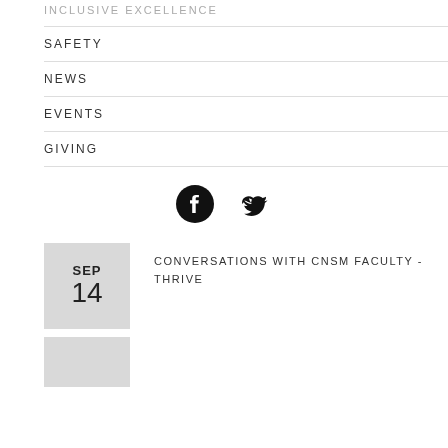INCLUSIVE EXCELLENCE
SAFETY
NEWS
EVENTS
GIVING
[Figure (illustration): Facebook and Twitter social media icons]
SEP 14 CONVERSATIONS WITH CNSM FACULTY - THRIVE